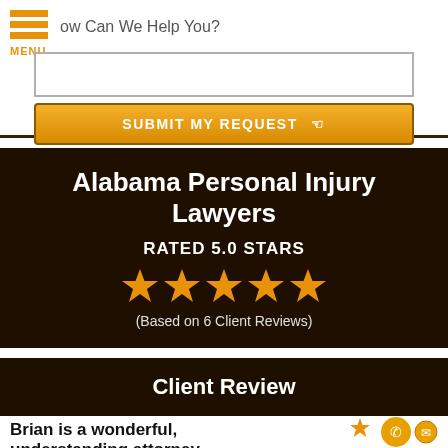How Can We Help You?
SUBMIT MY REQUEST
Alabama Personal Injury Lawyers
RATED 5.0 STARS
[Figure (other): Five gold stars rating graphic]
(Based on 6 Client Reviews)
Client Review
Brian is a wonderful, understanding attorney